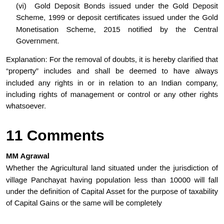(vi) Gold Deposit Bonds issued under the Gold Deposit Scheme, 1999 or deposit certificates issued under the Gold Monetisation Scheme, 2015 notified by the Central Government.
Explanation: For the removal of doubts, it is hereby clarified that “property” includes and shall be deemed to have always included any rights in or in relation to an Indian company, including rights of management or control or any other rights whatsoever.
11 Comments
MM Agrawal
Whether the Agricultural land situated under the jurisdiction of village Panchayat having population less than 10000 will fall under the definition of Capital Asset for the purpose of taxability of Capital Gains or the same will be completely